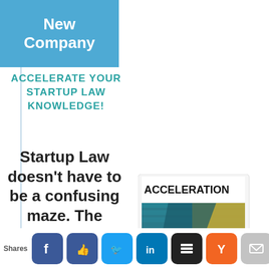New Company
ACCELERATE YOUR STARTUP LAW KNOWLEDGE!
Startup Law doesn't have to be a confusing maze. The practical knowledge in
[Figure (illustration): Book cover titled ACCELERATION with subtitle 'What all entrepreneurs must know about startup law', featuring geometric design in teal, green, and gold colors]
Shares [social share buttons: Facebook, Like, Twitter, LinkedIn, Buffer, Hacker News, Email]